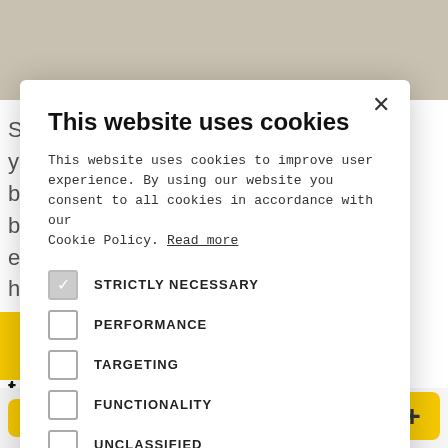[Figure (screenshot): Background of a webpage partially visible behind a cookie consent modal. Text visible includes fragments about inserting content into smaller screens and mobile effects. A yellow accent bar and buttons are visible at the bottom.]
This website uses cookies
This website uses cookies to improve user experience. By using our website you consent to all cookies in accordance with our Cookie Policy. Read more
STRICTLY NECESSARY
PERFORMANCE
TARGETING
FUNCTIONALITY
UNCLASSIFIED
ACCEPT ALL
DECLINE ALL
SHOW DETAILS